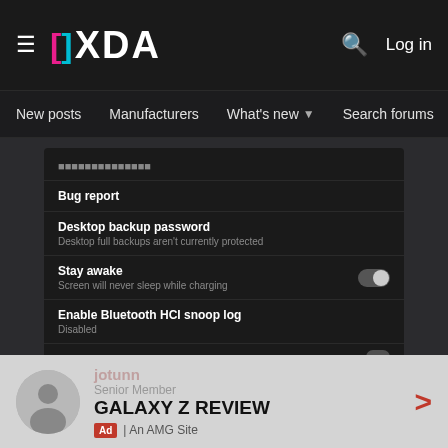[Figure (screenshot): XDA Developers website screenshot showing navigation bar with XDA logo, menu items (New posts, Manufacturers, What's new, Search forums, Members), and a phone screenshot showing Android Developer Options settings including Bug report, Desktop backup password, Stay awake (toggle off), Enable Bluetooth HCI snoop log (Disabled), and a filename bar showing Screenshot_20220128-215...]
GALAXY Z REVIEW
Ad | An AMG Site